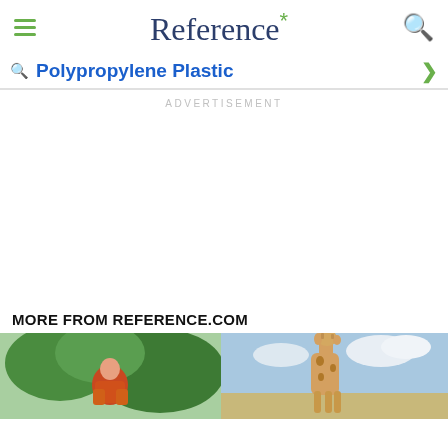Reference*
Polypropylene Plastic
ADVERTISEMENT
MORE FROM REFERENCE.COM
[Figure (photo): Person outdoors thumbnail image]
[Figure (photo): Giraffe outdoors thumbnail image]